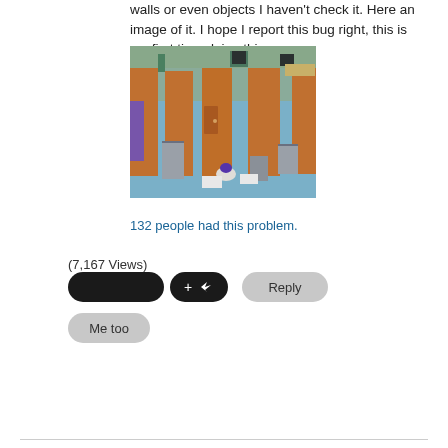walls or even objects I haven't check it. Here an image of it. I hope I report this bug right, this is my first time doing this.
[Figure (screenshot): Screenshot from The Sims showing a top-down view of a house interior with brown walls and blue floor, multiple rooms visible including bathroom fixtures]
132 people had this problem.
(7,167 Views)
Reply
Me too